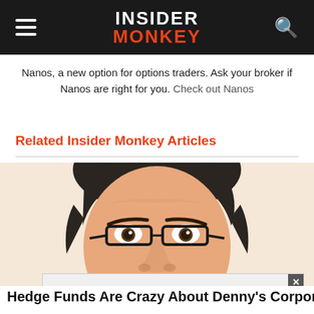INSIDER MONKEY
Nanos, a new option for options traders. Ask your broker if Nanos are right for you. Check out Nanos
Related Insider Monkey Articles
[Figure (illustration): Digital illustration / cartoon portrait of a man with dark hair, glasses with rectangular black frames, wearing a suit. The image is cropped to show the face and upper shoulders.]
Hedge Funds Are Crazy About Denny's Corporation